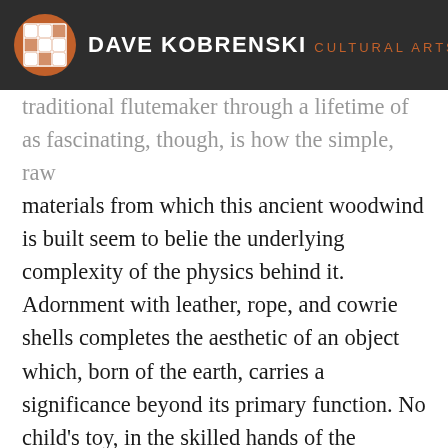DAVE KOBRENSKI CULTURAL ARTS
traditional flutemaker through a lifetime of... as fascinating, though, is how the simple, raw materials from which this ancient woodwind is built seem to belie the underlying complexity of the physics behind it. Adornment with leather, rope, and cowrie shells completes the aesthetic of an object which, born of the earth, carries a significance beyond its primary function. No child's toy, in the skilled hands of the fulafola these enchanting flutes are capable of the finest subtleties of musical expression. That the living breath of the player awakens elements of wood and earth to resonate into sacred song gives the flutes a place in the realm of the mystical — both for those who play